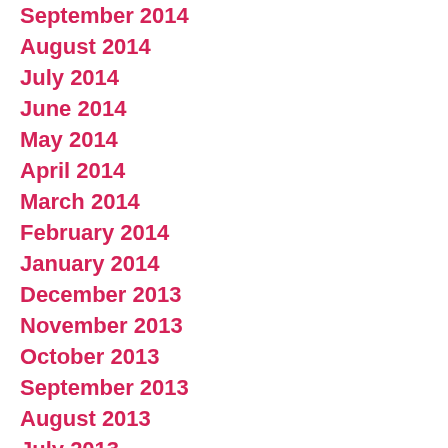September 2014
August 2014
July 2014
June 2014
May 2014
April 2014
March 2014
February 2014
January 2014
December 2013
November 2013
October 2013
September 2013
August 2013
July 2013
April 2013